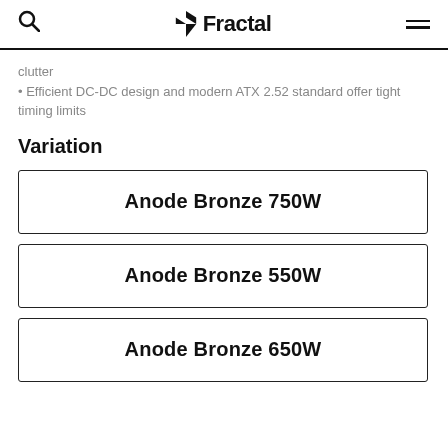Fractal
clutter
• Efficient DC-DC design and modern ATX 2.52 standard offer tight timing limits
Variation
Anode Bronze 750W
Anode Bronze 550W
Anode Bronze 650W